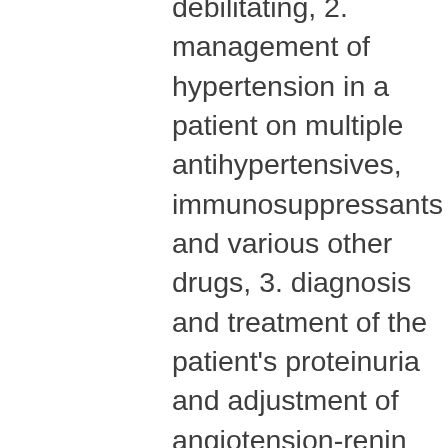debilitating, 2. management of hypertension in a patient on multiple antihypertensives, immunosuppressants and various other drugs, 3. diagnosis and treatment of the patient's proteinuria and adjustment of angiotension-renin system with medication adjustment, 4. detailed plan of dietary therapy and other discussion regarding patient's hyperlipidemia, 5. management of menopausal symptoms severe enough to limit patients sleep, which is contributing to overall fatigue,6. management of a hypothyroid patient who after several adjustments is finally at an appropriate level of thyroid replacement, 7. management of interactions of a list of 12 medications and several specialists, including a